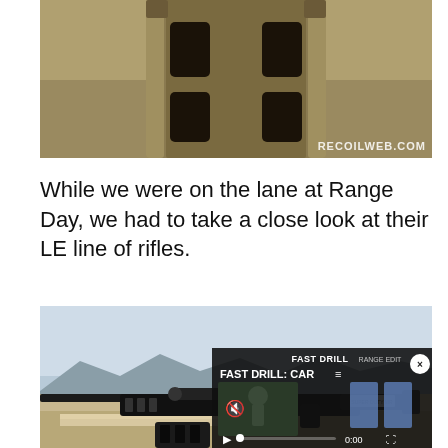[Figure (photo): Close-up photo of a tan/FDE colored magazine or firearm accessory with dark rectangular slots, watermarked with RECOILWEB.COM]
While we were on the lane at Range Day, we had to take a close look at their LE line of rifles.
[Figure (photo): Photo of a black AR-style rifle resting on a table at an outdoor shooting range with desert mountains in background, with a video overlay showing 'FAST DRILL: CAR...' with playback controls at 0:00]